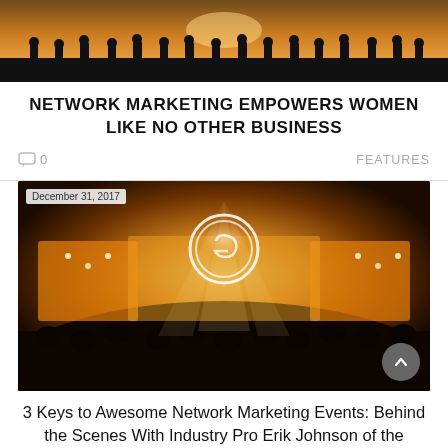[Figure (photo): Dark silhouette of people/figures against a warm sunset sky]
NETWORK MARKETING EMPOWERS WOMEN LIKE NO OTHER BUSINESS
0   FEATURES
[Figure (photo): Concert/event stage with bright lights, a large circular logo in the center, crowd in the foreground. Date stamp: December 31, 2017]
3 Keys to Awesome Network Marketing Events: Behind the Scenes With Industry Pro Erik Johnson of the